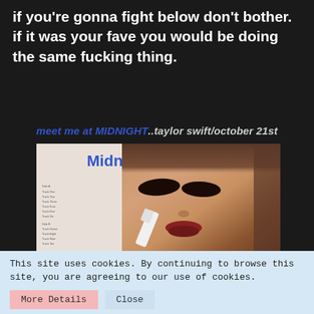if you're gonna fight below don't bother. if it was your fave you would be doing the same fucking thing.
meet me at MIDNIGHT..taylor swift/october 21st
[Figure (illustration): Album artwork for Taylor Swift's Midnights album showing the album title in blue text and a close-up photo of a woman with dramatic eye makeup holding a lighter, with a tracklist visible on the left side. Red scroll buttons on the right.]
This site uses cookies. By continuing to browse this site, you are agreeing to our use of cookies.
More Details   Close